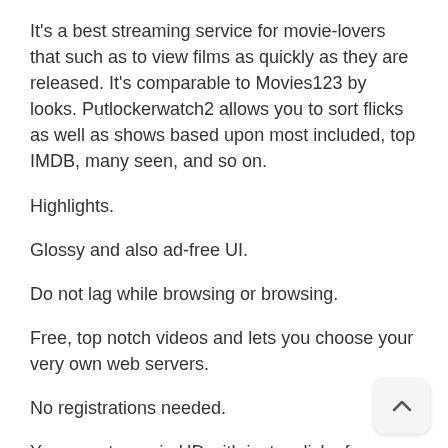It's a best streaming service for movie-lovers that such as to view films as quickly as they are released. It's comparable to Movies123 by looks. Putlockerwatch2 allows you to sort flicks as well as shows based upon most included, top IMDB, many seen, and so on.
Highlights.
Glossy and also ad-free UI.
Do not lag while browsing or browsing.
Free, top notch videos and lets you choose your very own web servers.
No registrations needed.
You can stream in HD with just a click of a button.
Displays a small description with an IMDB ranking when hovered upon the films.